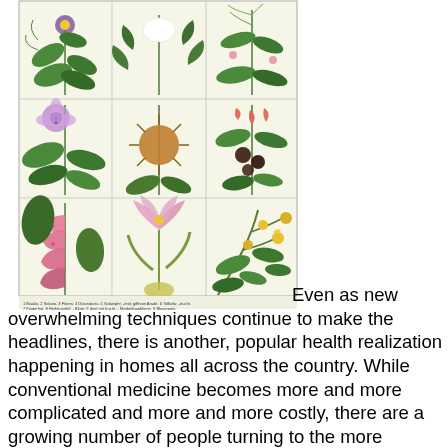[Figure (illustration): Botanical illustration showing a 3x3 grid of medicinal plants including various flowering plants with colorful blooms — purple/yellow flowers (top-left), white trumpet flower (top-center), leafy branches (top-right), pink/mauve flowers (middle-left), spiky seed pod (middle-center), pink tubular flowers (middle-right), pink bell-shaped flowers (bottom-left), pink lily/crocus (bottom-center), yellow flowers on green branches (bottom-right). Small caption text below the grid in German.]
Even as new overwhelming techniques continue to make the headlines, there is another, popular health realization happening in homes all across the country. While conventional medicine becomes more and more complicated and more and more costly, there are a growing number of people turning to the more natural